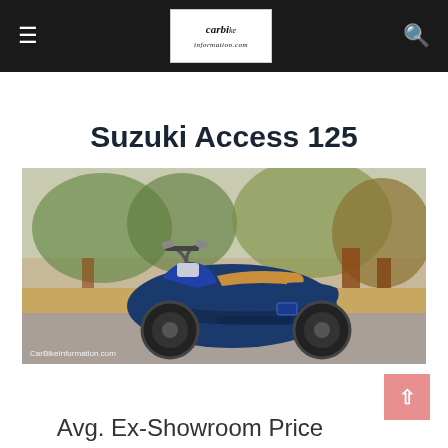≡  [CarBikeInformation.com logo]  🔍
Suzuki Access 125
[Figure (photo): Blue Suzuki Access 125 scooter parked on a road with trees in the background. Watermark: CarBikeInformation.com]
Avg. Ex-Showroom Price